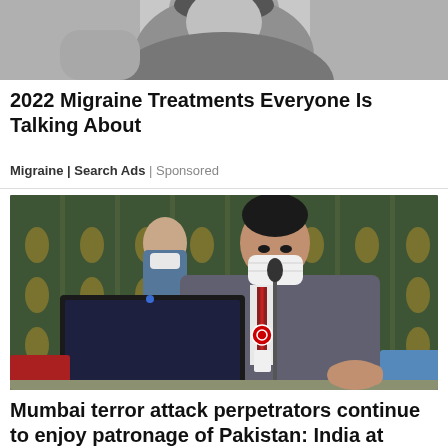[Figure (photo): Black and white photo of a person, partially cropped, shown at the top of the page as an advertisement image]
2022 Migraine Treatments Everyone Is Talking About
Migraine | Search Ads | Sponsored
[Figure (photo): Color photograph of a man in a grey suit wearing a white face mask and lanyard, seated at a desk with a laptop and microphone in what appears to be a formal meeting room (likely the UN Security Council chamber)]
Mumbai terror attack perpetrators continue to enjoy patronage of Pakistan: India at UNSC